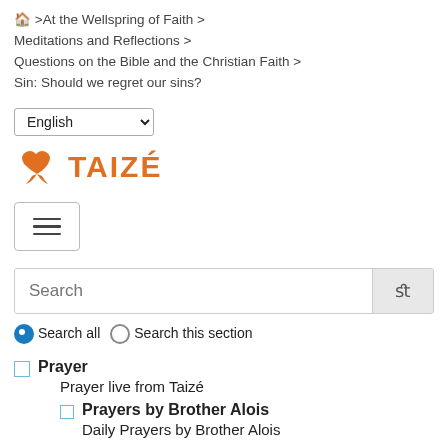🏠 >At the Wellspring of Faith > Meditations and Reflections > Questions on the Bible and the Christian Faith > Sin: Should we regret our sins?
English (language selector)
[Figure (logo): Taizé logo with orange cross icon and TAIZÉ text in orange]
[Figure (other): Hamburger menu button with three horizontal bars]
Search (search box with search button)
● Search all ○ Search this section
Prayer - Prayer live from Taizé
Prayers by Brother Alois - Daily Prayers by Brother Alois
Prayer intentions for peoples of the world